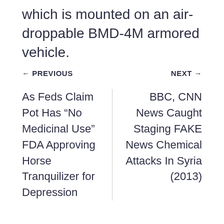which is mounted on an air-droppable BMD-4M armored vehicle.
← PREVIOUS   NEXT →
As Feds Claim Pot Has “No Medicinal Use” FDA Approving Horse Tranquilizer for Depression
BBC, CNN News Caught Staging FAKE News Chemical Attacks In Syria (2013)